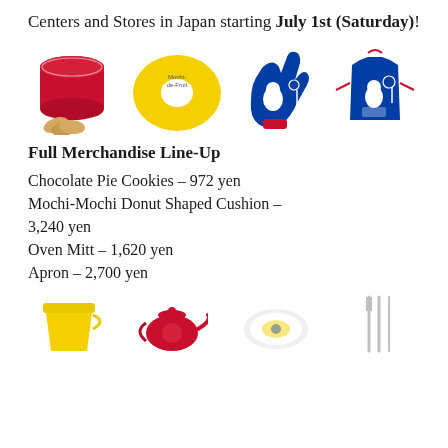Centers and Stores in Japan starting July 1st (Saturday)!
[Figure (photo): Four Moomin merchandise items: a red tin of Chocolate Pie Cookies with biscuits, a yellow Mochi-Mochi Donut Shaped Cushion, a blue Oven Mitt, and a blue Apron with red straps]
Full Merchandise Line-Up
Chocolate Pie Cookies – 972 yen
Mochi-Mochi Donut Shaped Cushion – 3,240 yen
Oven Mitt – 1,620 yen
Apron – 2,700 yen
[Figure (photo): Bottom row of Moomin merchandise items partially visible: a yellow cup, a red teapot, a decorative plate, and silver utensils]